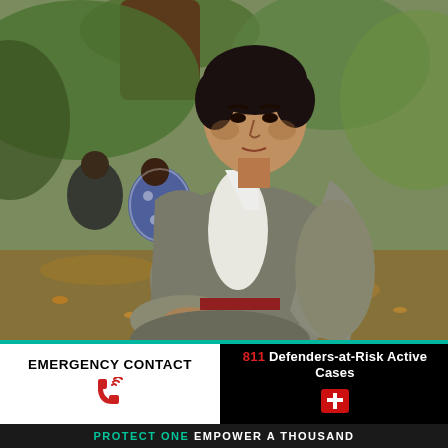[Figure (photo): A man wearing a grey linen jacket and white shirt sits outdoors on fallen autumn leaves beneath a tree. In the background, two other people sit on the ground. The setting appears to be a park or garden with green foliage.]
EMERGENCY CONTACT
811 Defenders-at-Risk Active Cases
PROTECT ONE EMPOWER A THOUSAND